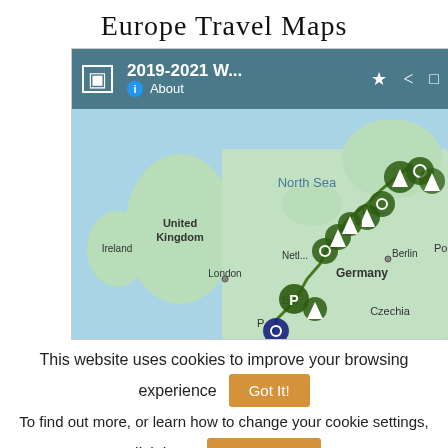Europe Travel Maps
[Figure (screenshot): A Google Maps-style interface showing a map of northern Europe including United Kingdom, Ireland, Netherlands, Germany, Denmark, and surrounding areas. The map displays a travel route marked with green icons (triangles and camera symbols) and blue icons connecting various locations. A toolbar at the top shows '2019-2021 W...' as the title with About, bookmark, share, and fullscreen buttons.]
This website uses cookies to improve your browsing experience
Got It!
To find out more, or learn how to change your cookie settings, click here
Read more